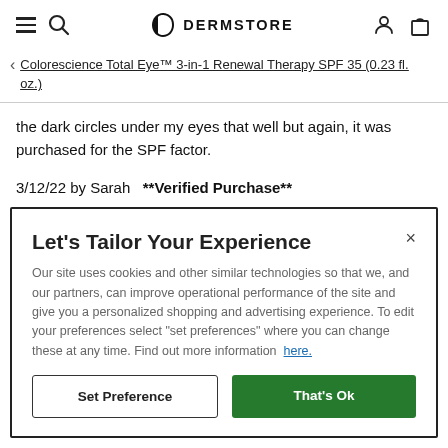DERMSTORE
Colorescience Total Eye™ 3-in-1 Renewal Therapy SPF 35 (0.23 fl. oz.)
the dark circles under my eyes that well but again, it was purchased for the SPF factor.
3/12/22 by Sarah  **Verified Purchase**
Was this review helpful to you?
Let's Tailor Your Experience
Our site uses cookies and other similar technologies so that we, and our partners, can improve operational performance of the site and give you a personalized shopping and advertising experience. To edit your preferences select "set preferences" where you can change these at any time. Find out more information here.
Set Preference
That's Ok